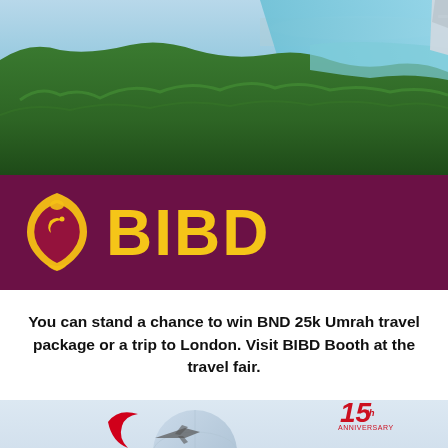[Figure (photo): Aerial view of green forested coastal peninsula with turquoise sea and distant city/coastline, with partial view of aircraft tail at right]
[Figure (logo): BIBD logo on purple/maroon background: golden mosque-dome shaped emblem with crescent moon and text 'BIBD' in large bold yellow letters]
You can stand a chance to win BND 25k Umrah travel package or a trip to London. Visit BIBD Booth at the travel fair.
[Figure (illustration): Sabre Brunei Travel 15th Anniversary logo and branding: red crescent swoosh, globe with airplane silhouette, '15th Anniversary' badge in red, 'Sabre' in red italic, 'Brunei' in bold black, partially visible 'Travel' text below, with mountain/pyramid shapes in background]